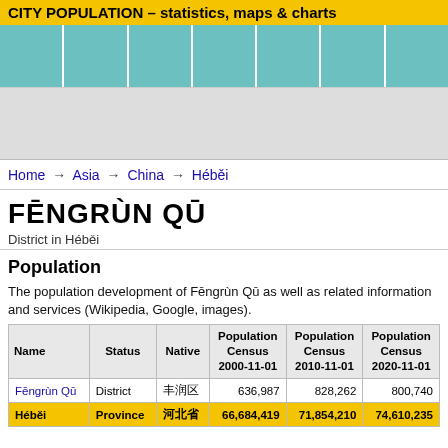CITY POPULATION – statistics, maps & charts
[Figure (screenshot): Teal navigation bar with 7 column cells]
[Figure (screenshot): Gray advertisement banner area]
Home → Asia → China → Héběi
FĒNGRÙN QŪ
District in Héběi
Population
The population development of Fēngrùn Qū as well as related information and services (Wikipedia, Google, images).
| Name | Status | Native | Population Census 2000-11-01 | Population Census 2010-11-01 | Population Census 2020-11-01 |
| --- | --- | --- | --- | --- | --- |
| Fēngrùn Qū | District | 丰润区 | 636,987 | 828,262 | 800,740 |
| Héběi | Province | 河北省 | 66,684,419 | 71,854,210 | 74,610,235 |